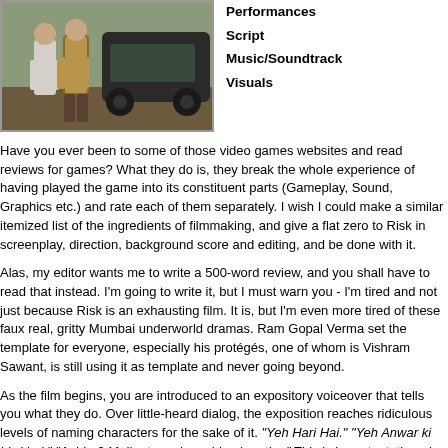[Figure (photo): Two people standing near a vehicle outdoors]
Performances
Script
Music/Soundtrack
Visuals
Have you ever been to some of those video games websites and read reviews for games? What they do is, they break the whole experience of having played the game into its constituent parts (Gameplay, Sound, Graphics etc.) and rate each of them separately. I wish I could make a similar itemized list of the ingredients of filmmaking, and give a flat zero to Risk in screenplay, direction, background score and editing, and be done with it.
Alas, my editor wants me to write a 500-word review, and you shall have to read that instead. I'm going to write it, but I must warn you - I'm tired and not just because Risk is an exhausting film. It is, but I'm even more tired of these faux real, gritty Mumbai underworld dramas. Ram Gopal Verma set the template for everyone, especially his protégés, one of whom is Vishram Sawant, is still using it as template and never going beyond.
As the film begins, you are introduced to an expository voiceover that tells you what they do. Over little-heard dialog, the exposition reaches ridiculous levels of naming characters for the sake of it. "Yeh Hari Hai." "Yeh Anwar ki biwi hai." "Achha? Mujhe to maloom hi nahee tha." This is important, though, because it's the level of writing you will be seeing in this film. Very, very low.